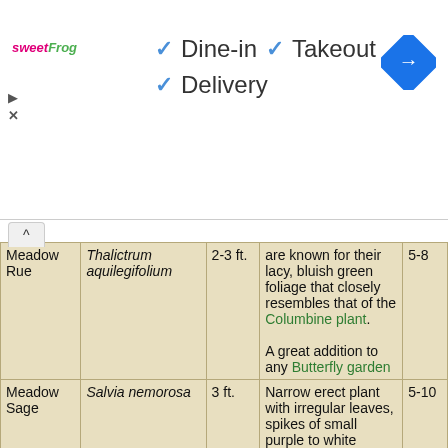[Figure (screenshot): Ad banner with sweetFrog logo, checkmarks for Dine-in, Takeout, Delivery options, and a Google Maps navigation icon]
| Common Name | Scientific Name | Size | Description | Zone |
| --- | --- | --- | --- | --- |
| Meadow Rue | Thalictrum aquilegfolium | 2-3 ft. | are known for their lacy, bluish green foliage that closely resembles that of the Columbine plant.
A great addition to any Butterfly garden | 5-8 |
| Meadow Sage | Salvia nemorosa | 3 ft. | Narrow erect plant with irregular leaves, spikes of small purple to white | 5-10 |